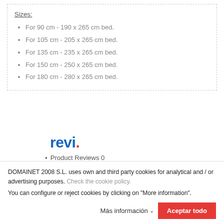Sizes:
For 90 cm - 190 x 265 cm bed.
For 105 cm - 205 x 265 cm bed.
For 135 cm - 235 x 265 cm bed.
For 150 cm - 250 x 265 cm bed.
For 180 cm - 280 x 265 cm bed.
[Figure (logo): revi. logo in bold blue with red period]
Product Reviews 0
Shop Reviews 1292
DOMAINET 2008 S.L. uses own and third party cookies for analytical and / or advertising purposes. Check the cookie policy.
You can configure or reject cookies by clicking on "More information".
Más información   Aceptar todo